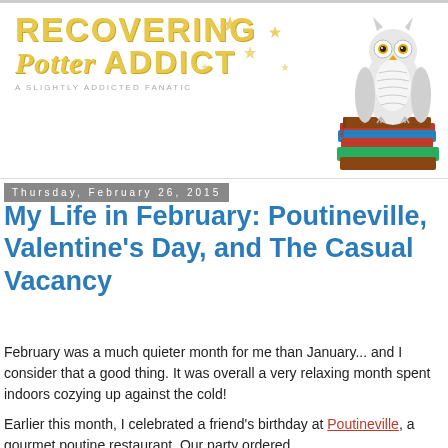[Figure (logo): Recovering Potter Addict blog logo with yellow/gold stylized text, stars, and an owl sitting on a stack of books]
Thursday, February 26, 2015
My Life in February: Poutineville, Valentine's Day, and The Casual Vacancy
February was a much quieter month for me than January... and I consider that a good thing. It was overall a very relaxing month spent indoors cozying up against the cold!
Earlier this month, I celebrated a friend's birthday at Poutineville, a gourmet poutine restaurant. Our party ordered